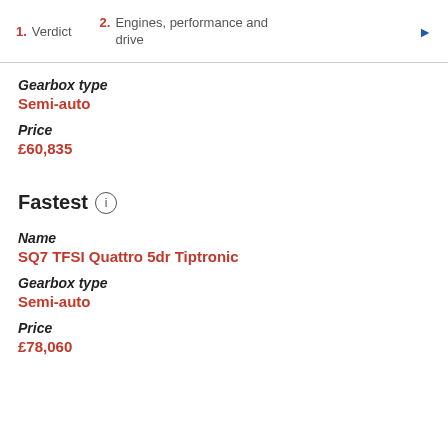1. Verdict   2. Engines, performance and drive
Gearbox type
Semi-auto
Price
£60,835
Fastest
Name
SQ7 TFSI Quattro 5dr Tiptronic
Gearbox type
Semi-auto
Price
£78,060